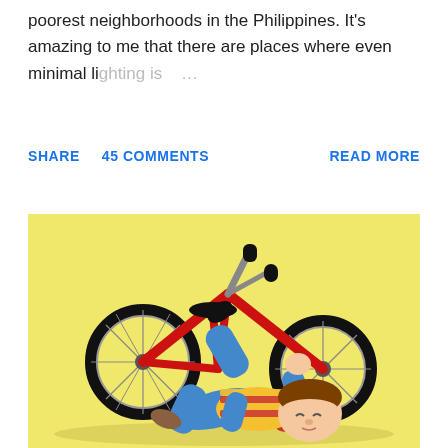...in order to bring light into homes in some of the poorest neighborhoods in the Philippines. It's amazing to me that there are places where even minimal lighting is ...
SHARE   45 COMMENTS   READ MORE
[Figure (photo): Illustration/toy figurine of a child lying on the ground having fallen off a red bicycle, on a yellow background. The child wears blue pants and a yellow-red striped shirt.]